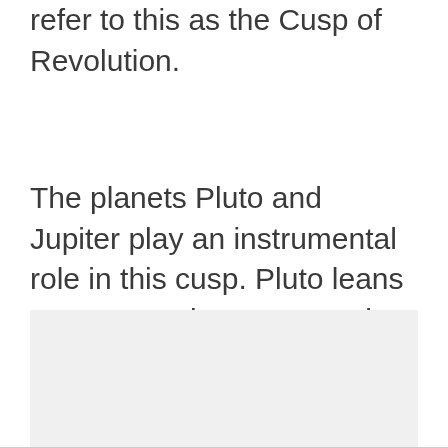refer to this as the Cusp of Revolution.
The planets Pluto and Jupiter play an instrumental role in this cusp. Pluto leans more towards your Scorpio personality, while Jupiter reigns over your Sagittarius nature.
[Figure (other): Light gray placeholder image region at the bottom of the page]